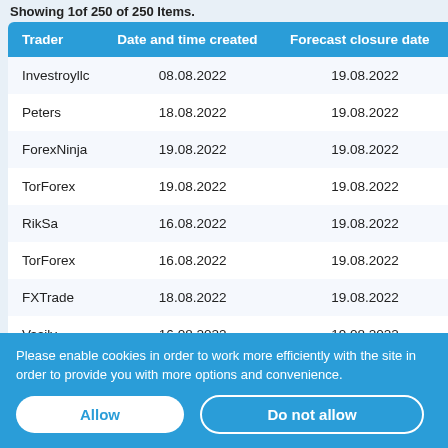Showing 1of 250 of 250 Items.
| Trader | Date and time created | Forecast closure date |
| --- | --- | --- |
| Investroyllc | 08.08.2022 | 19.08.2022 |
| Peters | 18.08.2022 | 19.08.2022 |
| ForexNinja | 19.08.2022 | 19.08.2022 |
| TorForex | 19.08.2022 | 19.08.2022 |
| RikSa | 16.08.2022 | 19.08.2022 |
| TorForex | 16.08.2022 | 19.08.2022 |
| FXTrade | 18.08.2022 | 19.08.2022 |
| Vasily | 16.08.2022 | 19.08.2022 |
Please enable cookies in order to work more efficiently with the site in order to provide you with more options and convenience.
Allow
Do not allow